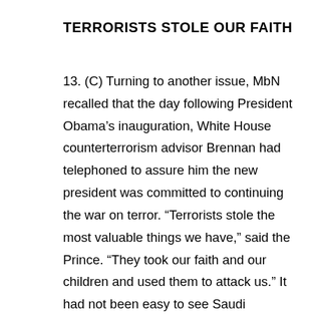TERRORISTS STOLE OUR FAITH
13. (C) Turning to another issue, MbN recalled that the day following President Obama’s inauguration, White House counterterrorism advisor Brennan had telephoned to assure him the new president was committed to continuing the war on terror. “Terrorists stole the most valuable things we have,” said the Prince. “They took our faith and our children and used them to attack us.” It had not been easy to see Saudi involvement in 9/11 and other terrorist incidents, he said. AQ was